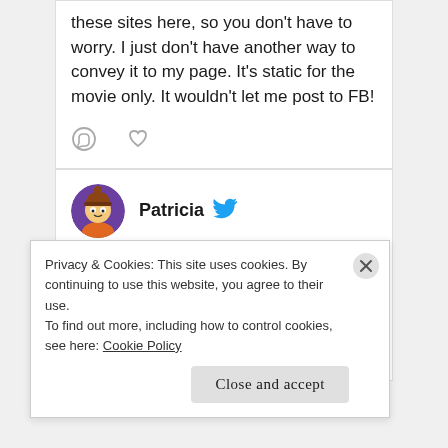these sites here, so you don't have to worry. I just don't have another way to convey it to my page. It's static for the movie only. It wouldn't let me post to FB!
[Figure (illustration): Comment and heart/like icons (tweet action buttons)]
[Figure (photo): Cartoon avatar of Patricia (South Park style character)]
Patricia · Mar 21, 2021
[Figure (logo): Twitter bird logo in blue]
Extra Large Medium youtu.be/Vj4jk2VLxhc via @YouTube
[Figure (screenshot): YouTube video thumbnail (partial, green/blue) at bottom of tweet]
Privacy & Cookies: This site uses cookies. By continuing to use this website, you agree to their use.
To find out more, including how to control cookies, see here: Cookie Policy
Close and accept